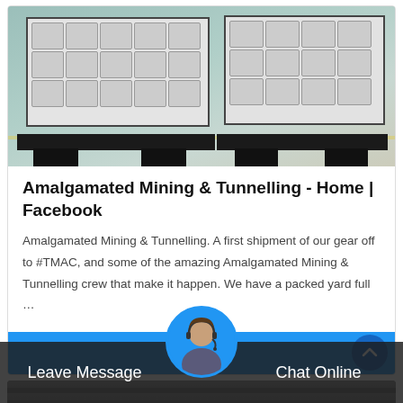[Figure (photo): Photo of heavy industrial mining/tunneling machinery with white rectangular bodies and black steel bases on a factory floor with teal/green painted concrete.]
Amalgamated Mining & Tunnelling - Home | Facebook
Amalgamated Mining & Tunnelling. A first shipment of our gear off to #TMAC, and some of the amazing Amalgamated Mining & Tunnelling crew that make it happen. We have a packed yard full …
Get Price
[Figure (photo): Partial view of a second industrial machinery image with a dark overlay chat bar at the bottom showing Leave Message and Chat Online options with a customer service avatar.]
Leave Message
Chat Online